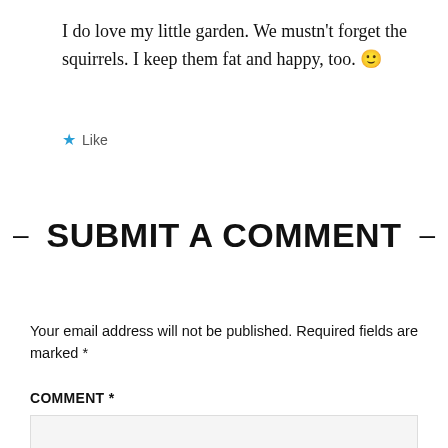I do love my little garden. We mustn't forget the squirrels. I keep them fat and happy, too. 🙂
★ Like
– SUBMIT A COMMENT –
Your email address will not be published. Required fields are marked *
COMMENT *